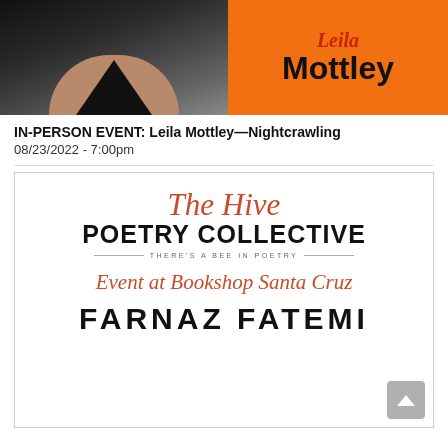[Figure (photo): Left half: close-up photo of a person's neckline wearing a black v-neck top. Right half: orange background panel with 'Leila Mottley' text in black bold font with script styling.]
IN-PERSON EVENT: Leila Mottley—Nightcrawling
08/23/2022 - 7:00pm
[Figure (logo): The Hive Poetry Collective logo card. Contains script text 'The Hive' in rust/red-orange italic, bold black 'POETRY COLLECTIVE', tagline 'THERE'S A BEE IN POETRY', script text 'Event at Bookshop Santa Cruz' in rust/red-orange italic, and bold black 'FARNAZ FATEMI'.]